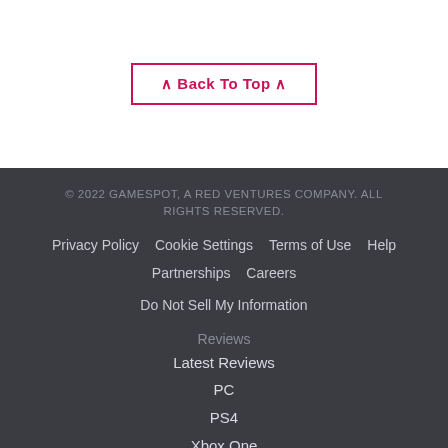Back To Top
© 2022 GAMESPOT, A RED VENTURES COMPANY. ALL RIGHTS RESERVED.
Privacy Policy   Cookie Settings   Terms of Use   Help   Partnerships   Careers
Do Not Sell My Information
Reviews
Latest Reviews
PC
PS4
Xbox One
Switch